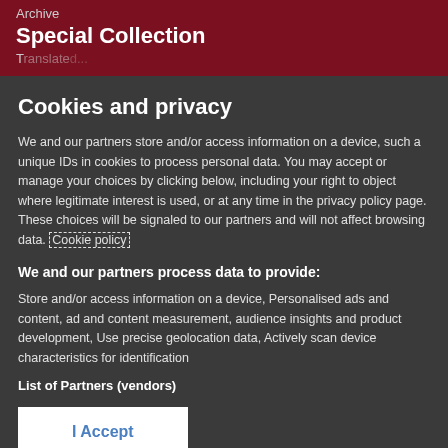Archive
Special Collection
T...
Cookies and privacy
We and our partners store and/or access information on a device, such a unique IDs in cookies to process personal data. You may accept or manage your choices by clicking below, including your right to object where legitimate interest is used, or at any time in the privacy policy page. These choices will be signaled to our partners and will not affect browsing data. Cookie policy
We and our partners process data to provide:
Store and/or access information on a device, Personalised ads and content, ad and content measurement, audience insights and product development, Use precise geolocation data, Actively scan device characteristics for identification
List of Partners (vendors)
I Accept